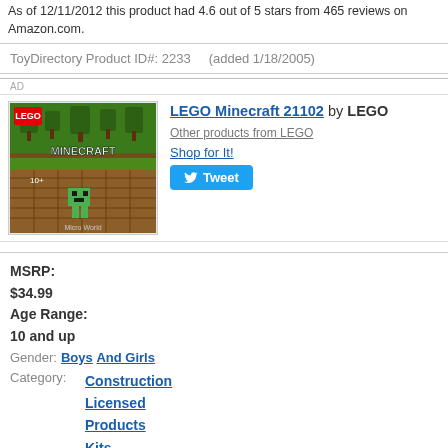As of 12/11/2012 this product had 4.6 out of 5 stars from 465 reviews on Amazon.com.
ToyDirectory Product ID#: 2233    (added 1/18/2005)
[Figure (photo): LEGO Minecraft 21102 product box image showing a Minecraft scene with trees and characters]
LEGO Minecraft 21102 by LEGO
Other products from LEGO
Shop for It!
Tweet
MSRP:
$34.99
Age Range:
10 and up
Gender: Boys And Girls
Category: Construction Licensed Products Kits